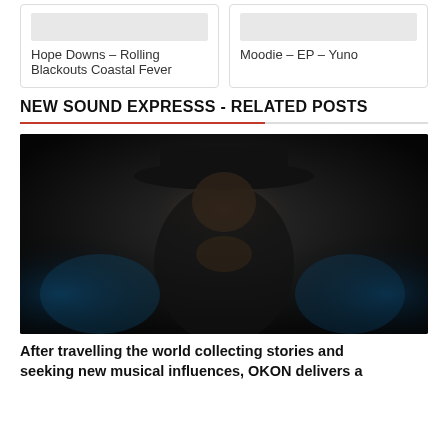Hope Downs – Rolling Blackouts Coastal Fever
Moodie – EP – Yuno
NEW SOUND EXPRESSS - RELATED POSTS
[Figure (photo): Dark moody portrait of a man wearing a wide-brim black hat, dressed in black, with hands clasped, seated against a dark background with hints of blue.]
After travelling the world collecting stories and seeking new musical influences, OKON delivers a